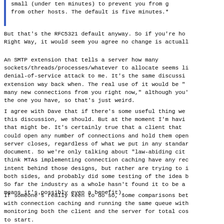small (under ten minutes) to prevent you from g from other hosts. The default is five minutes.*
But that's the RFC5321 default anyway. So if you're ho Right Way, it would seem you agree no change is actuall
An SMTP extension that tells a server how many sockets/threads/processes/whatever to allocate seems li denial-of-service attack to me. It's the same discussi extension way back when. The real use of it would be " many new connections from you right now," although you' the one you have, so that's just weird.
I agree with Dave that if there's some useful thing we this discussion, we should. But at the moment I'm havi that might be. It's certainly true that a client that could open any number of connections and hold them open server closes, regardless of what we put in any standar document. So we're only talking about "law-abiding cit think MTAs implementing connection caching have any rec intent behind those designs, but rather are trying to i both sides, and probably did some testing of the idea b So far the industry as a whole hasn't found it to be a means it's possibly even a benefit).
If someone's really keen to do so, some comparisons bet with connection caching and running the same queue with monitoring both the client and the server for total cos to start.